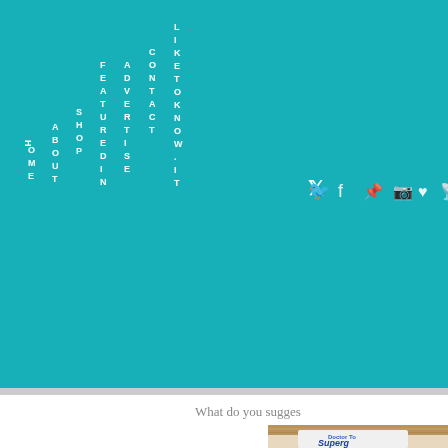[Figure (screenshot): Website header with teal/turquoise background containing vertical navigation menu items: HOME, ABOUT, SHOP, FEATURED IN, ADVERTISE, CONTACT, LIKE TO KNOW.IT, and social media icons (Twitter, Facebook, Pinterest, Instagram, heart, RSS feed)]
What do you sugges
[Figure (photo): Partial photo of a product package labeled 'Doctor To Superg...' held in someone's hand, visible against a wooden surface background]